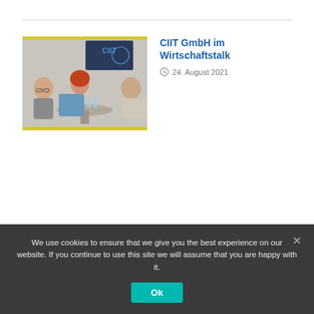[Figure (photo): Video thumbnail showing three people (two men and a woman) seated around a glass table in a discussion setting, with a CIIT logo visible on a screen in the background.]
CIIT GmbH im Wirtschaftstalk
24. August 2021
[Figure (logo): Partial view of a green leaf/spring logo, partially cropped at the bottom of the page.]
Overview Spring Annotations
30. Juni 2021
We use cookies to ensure that we give you the best experience on our website. If you continue to use this site we will assume that you are happy with it.